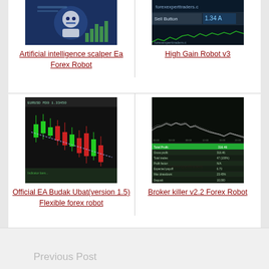[Figure (screenshot): Artificial intelligence scalper Ea Forex Robot thumbnail image]
Artificial intelligence scalper Ea Forex Robot
[Figure (screenshot): High Gain Robot v3 thumbnail image]
High Gain Robot v3
[Figure (screenshot): Official EA Budak Ubat(version 1.5) Flexible forex robot candlestick chart thumbnail]
Official EA Budak Ubat(version 1.5) Flexible forex robot
[Figure (screenshot): Broker killer v2.2 Forex Robot trading results screenshot thumbnail]
Broker killer v2.2 Forex Robot
Previous Post